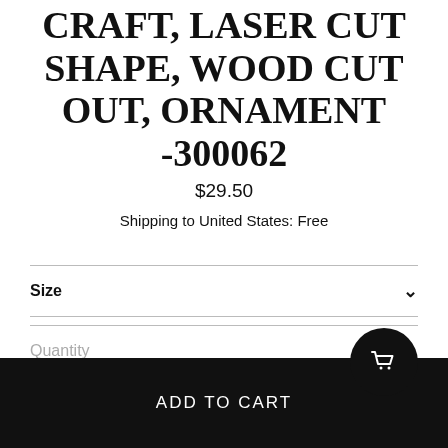CRAFT, LASER CUT SHAPE, WOOD CUT OUT, ORNAMENT -300062
$29.50
Shipping to United States: Free
Size
Quantity
ADD TO CART